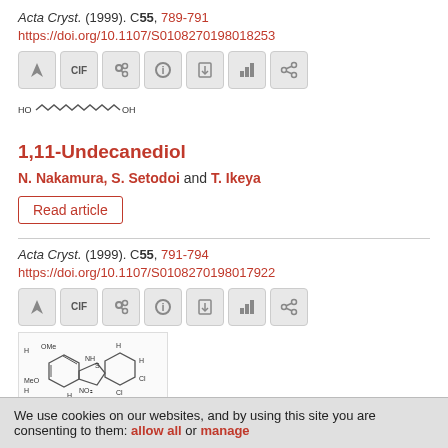Acta Cryst. (1999). C55, 789-791
https://doi.org/10.1107/S0108270198018253
[Figure (other): Icon toolbar with 7 action buttons]
[Figure (illustration): Chemical structure diagram of 1,11-Undecanediol showing HO-(CH2)11-OH chain]
1,11-Undecanediol
N. Nakamura, S. Setodoi and T. Ikeya
Read article
Acta Cryst. (1999). C55, 791-794
https://doi.org/10.1107/S0108270198017922
[Figure (other): Icon toolbar with 7 action buttons]
[Figure (illustration): Chemical structure diagram of tautomerism compound showing benzene rings with methoxy and sulfonamide groups]
Tautomerism in a 2,4-dichlorobenzenesulfonamide derived from 2-amino-4-(2,5-di-methoxyphenyl)thiazole
We use cookies on our websites, and by using this site you are consenting to them: allow all or manage